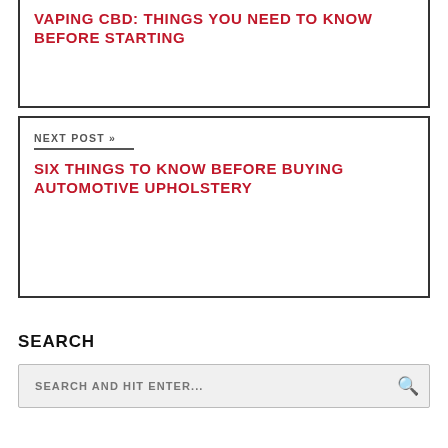VAPING CBD: THINGS YOU NEED TO KNOW BEFORE STARTING
NEXT POST »
SIX THINGS TO KNOW BEFORE BUYING AUTOMOTIVE UPHOLSTERY
SEARCH
SEARCH AND HIT ENTER...